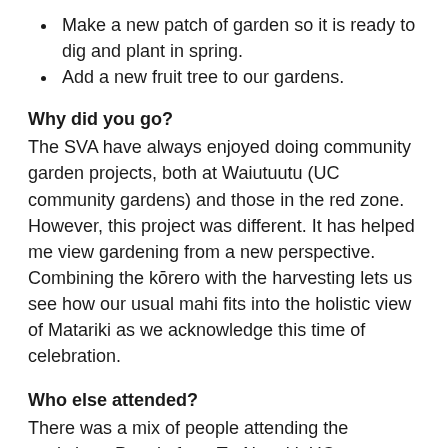Make a new patch of garden so it is ready to dig and plant in spring.
Add a new fruit tree to our gardens.
Why did you go?
The SVA have always enjoyed doing community garden projects, both at Waiutuutu (UC community gardens) and those in the red zone. However, this project was different. It has helped me view gardening from a new perspective. Combining the kōrero with the harvesting lets us see how our usual mahi fits into the holistic view of Matariki as we acknowledge this time of celebration.
Who else attended?
There was a mix of people attending the workshop. People from Te Akatoki, UC sustainability, and the SVA were there, alongside some passionate community gardeners and other new faces. It was cool to have this mix of people in one space; all with interest in sustainability and community from slightly